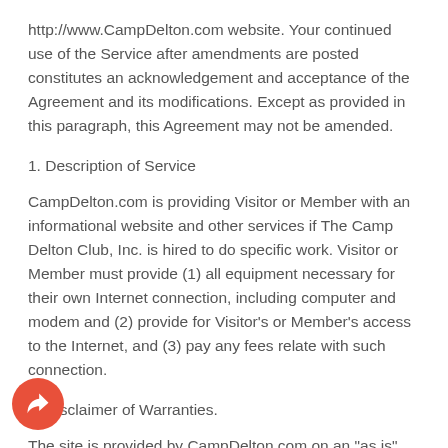http://www.CampDelton.com website. Your continued use of the Service after amendments are posted constitutes an acknowledgement and acceptance of the Agreement and its modifications. Except as provided in this paragraph, this Agreement may not be amended.
1. Description of Service
CampDelton.com is providing Visitor or Member with an informational website and other services if The Camp Delton Club, Inc. is hired to do specific work. Visitor or Member must provide (1) all equipment necessary for their own Internet connection, including computer and modem and (2) provide for Visitor's or Member's access to the Internet, and (3) pay any fees relate with such connection.
2. Disclaimer of Warranties.
The site is provided by CampDelton.com on an "as is" and on an "as available" basis. To the fullest extent